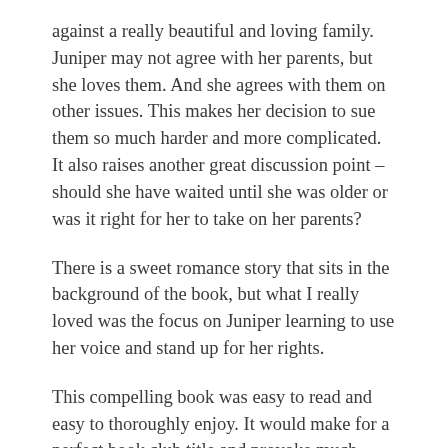against a really beautiful and loving family. Juniper may not agree with her parents, but she loves them. And she agrees with them on other issues. This makes her decision to sue them so much harder and more complicated. It also raises another great discussion point – should she have waited until she was older or was it right for her to take on her parents?
There is a sweet romance story that sits in the background of the book, but what I really loved was the focus on Juniper learning to use her voice and stand up for her rights.
This compelling book was easy to read and easy to thoroughly enjoy. It would make for a perfect book club title and provoke much discussion, especially given the current climate around immunisation and vaccines.
The publishers provided an advanced readers copy of